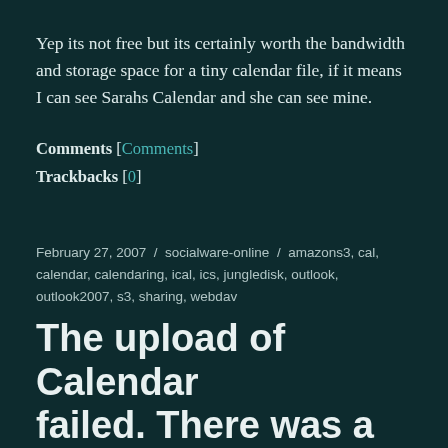Yep its not free but its certainly worth the bandwidth and storage space for a tiny calendar file, if it means I can see Sarahs Calendar and she can see mine.
Comments [Comments]
Trackbacks [0]
February 27, 2007  /  socialware-online  /  amazons3, cal, calendar, calendaring, ical, ics, jungledisk, outlook, outlook2007, s3, sharing, webdav
The upload of Calendar failed. There was a